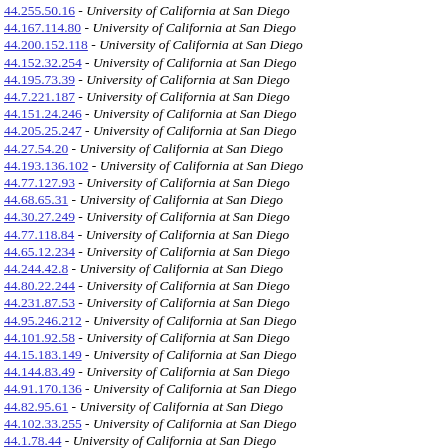44.255.50.16 - University of California at San Diego
44.167.114.80 - University of California at San Diego
44.200.152.118 - University of California at San Diego
44.152.32.254 - University of California at San Diego
44.195.73.39 - University of California at San Diego
44.7.221.187 - University of California at San Diego
44.151.24.246 - University of California at San Diego
44.205.25.247 - University of California at San Diego
44.27.54.20 - University of California at San Diego
44.193.136.102 - University of California at San Diego
44.77.127.93 - University of California at San Diego
44.68.65.31 - University of California at San Diego
44.30.27.249 - University of California at San Diego
44.77.118.84 - University of California at San Diego
44.65.12.234 - University of California at San Diego
44.244.42.8 - University of California at San Diego
44.80.22.244 - University of California at San Diego
44.231.87.53 - University of California at San Diego
44.95.246.212 - University of California at San Diego
44.101.92.58 - University of California at San Diego
44.15.183.149 - University of California at San Diego
44.144.83.49 - University of California at San Diego
44.91.170.136 - University of California at San Diego
44.82.95.61 - University of California at San Diego
44.102.33.255 - University of California at San Diego
44.1.78.44 - University of California at San Diego
44.225.64.30 - University of California at San Diego
44.19.83.49 - University of California at San Diego
44.55.33.255 - University of California at San Diego
44.56.165.131 - University of California at San Diego